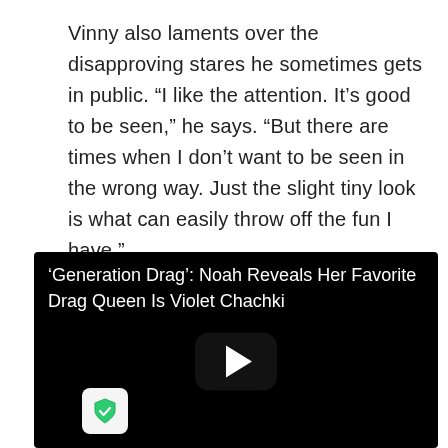Vinny also laments over the disapproving stares he sometimes gets in public. “I like the attention. It’s good to be seen,” he says. “But there are times when I don’t want to be seen in the wrong way. Just the slight tiny look is what can easily throw off the fun I have.”
[Figure (screenshot): Embedded video thumbnail with black background showing title text '‘Generation Drag’: Noah Reveals Her Favorite Drag Queen Is Violet Chachki' and a play button in the center.]